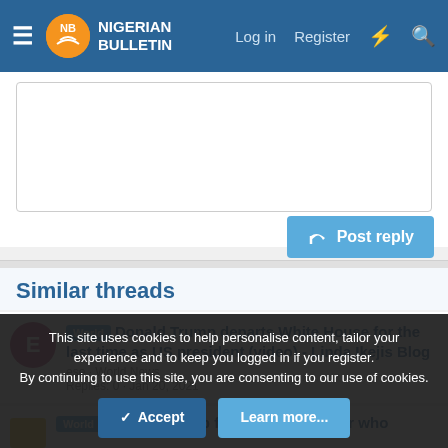Nigerian Bulletin — Log in  Register
Similar threads
World  Donald Trump departs White House for the last time as US president (video) - Linda Ikejis Blog
ese · World News
Replies: 0 · Jan 20, 2021
World  Obama, Trump fight on twitter over who
This site uses cookies to help personalise content, tailor your experience and to keep you logged in if you register.
By continuing to use this site, you are consenting to our use of cookies.